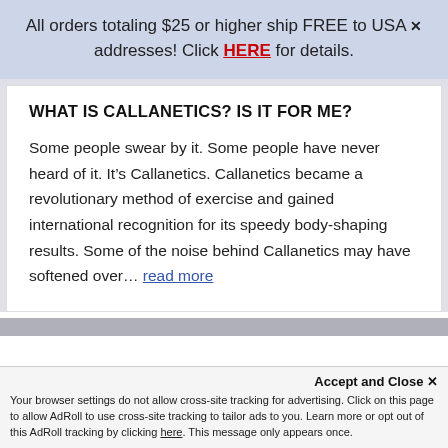All orders totaling $25 or higher ship FREE to USA addresses! Click HERE for details.
WHAT IS CALLANETICS? IS IT FOR ME?
Some people swear by it. Some people have never heard of it. It’s Callanetics. Callanetics became a revolutionary method of exercise and gained international recognition for its speedy body-shaping results. Some of the noise behind Callanetics may have softened over... read more
Accept and Close ×
Your browser settings do not allow cross-site tracking for advertising. Click on this page to allow AdRoll to use cross-site tracking to tailor ads to you. Learn more or opt out of this AdRoll tracking by clicking here. This message only appears once.